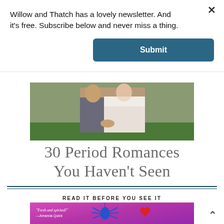Willow and Thatch has a lovely newsletter. And it's free. Subscribe below and never miss a thing.
Submit
[Figure (photo): Couple holding hands outdoors, man in grey suit and woman in white lace wedding dress, green grass background]
30 Period Romances You Haven't Seen
READ IT BEFORE YOU SEE IT
[Figure (illustration): Colorful book cover with purple/pink background, text 'Fresh and spirited! — Amanda Quick', blue spider illustration, red heart shape]